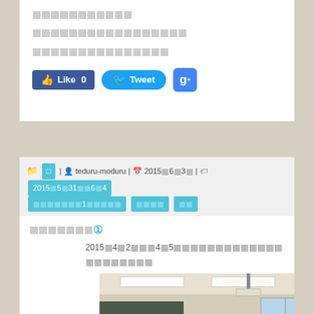□□□□□□□□□□□□
□□□□□□□□□□□□□□□□□
□□□□□□□□□□□□□□□
[Figure (screenshot): Social media buttons: Facebook Like (0), Twitter Tweet, Google+ buttons]
□ | teduru-moduru | 2015□6□3□ | 2015□5□31□□6□4□□□□□□□1□□□□□□□□□ □□□□ □□
□□□□□□□①
2015□4□2□□□4□5□□□□□□□□□□□□□□□□□□□□□□□□□□□□
[Figure (photo): Classroom interior photo showing fluorescent lights on ceiling, students and blackboard visible]